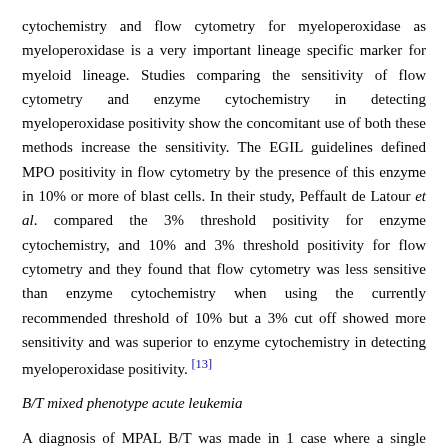cytochemistry and flow cytometry for myeloperoxidase as myeloperoxidase is a very important lineage specific marker for myeloid lineage. Studies comparing the sensitivity of flow cytometry and enzyme cytochemistry in detecting myeloperoxidase positivity show the concomitant use of both these methods increase the sensitivity. The EGIL guidelines defined MPO positivity in flow cytometry by the presence of this enzyme in 10% or more of blast cells. In their study, Peffault de Latour et al. compared the 3% threshold positivity for enzyme cytochemistry, and 10% and 3% threshold positivity for flow cytometry and they found that flow cytometry was less sensitive than enzyme cytochemistry when using the currently recommended threshold of 10% but a 3% cut off showed more sensitivity and was superior to enzyme cytochemistry in detecting myeloperoxidase positivity. [13]
B/T mixed phenotype acute leukemia
A diagnosis of MPAL B/T was made in 1 case where a single population of blasts demonstrated B lineage commitment (positivity for CD19, cytoplasmic 79a and cytoplasmic CD22) and T lineage commitment (positivity for cytoplasmic CD3).
Mixed phenotype acute leukemia is thought to arise from a multipotential